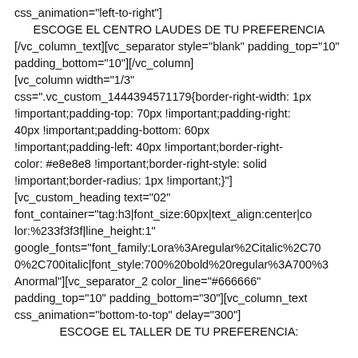css_animation="left-to-right"]
            ESCOGE EL CENTRO LAUDES DE TU PREFERENCIA
[/vc_column_text][vc_separator style="blank" padding_top="10" padding_bottom="10"][/vc_column]
[vc_column width="1/3" css=".vc_custom_1444394571179{border-right-width: 1px !important;padding-top: 70px !important;padding-right: 40px !important;padding-bottom: 60px !important;padding-left: 40px !important;border-right-color: #e8e8e8 !important;border-right-style: solid !important;border-radius: 1px !important;}"]
[vc_custom_heading text="02" font_container="tag:h3|font_size:60px|text_align:center|color:%233f3f3f|line_height:1" google_fonts="font_family:Lora%3Aregular%2Citalic%2C700%2C700italic|font_style:700%20bold%20regular%3A700%3Anormal"][vc_separator_2 color_line="#666666" padding_top="10" padding_bottom="30"][vc_column_text css_animation="bottom-to-top" delay="300"]
            ESCOGE EL TALLER DE TU PREFERENCIA: